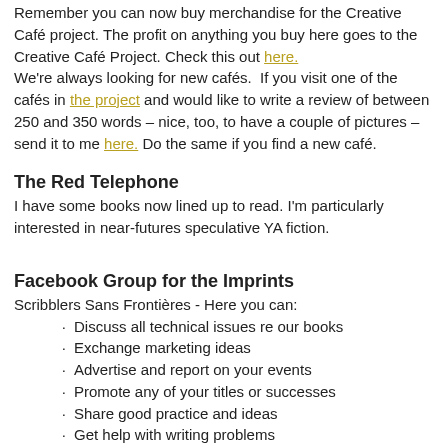Remember you can now buy merchandise for the Creative Café project. The profit on anything you buy here goes to the Creative Café Project. Check this out here. We're always looking for new cafés. If you visit one of the cafés in the project and would like to write a review of between 250 and 350 words – nice, too, to have a couple of pictures – send it to me here. Do the same if you find a new café.
The Red Telephone
I have some books now lined up to read. I'm particularly interested in near-futures speculative YA fiction.
Facebook Group for the Imprints
Scribblers Sans Frontières - Here you can:
Discuss all technical issues re our books
Exchange marketing ideas
Advertise and report on your events
Promote any of your titles or successes
Share good practice and ideas
Get help with writing problems
Anything else you can think of...